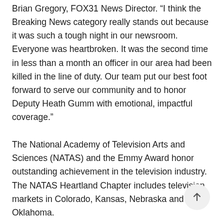Brian Gregory, FOX31 News Director. “I think the Breaking News category really stands out because it was such a tough night in our newsroom. Everyone was heartbroken. It was the second time in less than a month an officer in our area had been killed in the line of duty. Our team put our best foot forward to serve our community and to honor Deputy Heath Gumm with emotional, impactful coverage.”
The National Academy of Television Arts and Sciences (NATAS) and the Emmy Award honor outstanding achievement in the television industry. The NATAS Heartland Chapter includes television markets in Colorado, Kansas, Nebraska and Oklahoma.